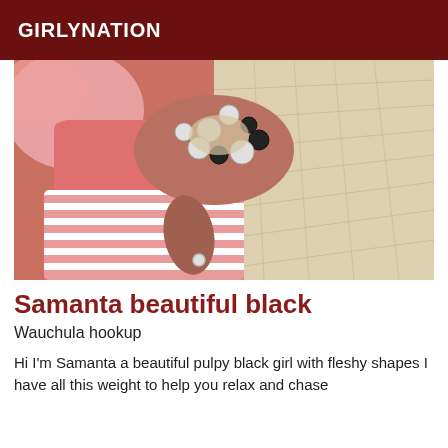GIRLYNATION
[Figure (photo): Close-up photo of a woman wearing a pink outfit with a striped skirt, a large statement necklace with white and black beads, pink fluffy accessories, and a ring on her finger. Background shows a light-colored tiled floor.]
Samanta beautiful black
Wauchula hookup
Hi I'm Samanta a beautiful pulpy black girl with fleshy shapes I have all this weight to help you relax and chase